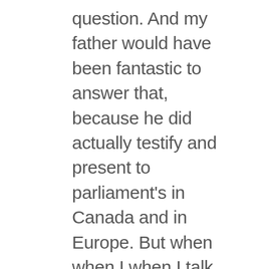question. And my father would have been fantastic to answer that, because he did actually testify and present to parliament's in Canada and in Europe. But when when I when I talk, because I don't I don't testify. But when I talk, and I've tried to explain these issues to people. So first of all, you know, incontrovertibly, the World Health Organization designate designates this as a class to be carcinogen. That means, back in 2011, they determined that there was sufficient basis in science to consider this a possible carcinogen. Now, there's lots of other types of damage, right, that that's specifically about carcinogenicity of the cancer causing ability. But even the